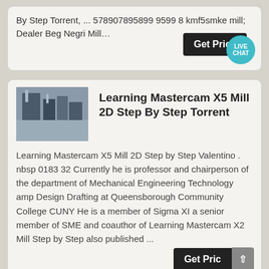By Step Torrent, ... 578907895899 9599 8 kmf5smke mill; Dealer Beg Negri Mill…
[Figure (screenshot): Dark button labeled 'Get Price' with a teal live chat bubble overlay showing 'LIVE CHAT']
[Figure (photo): Industrial equipment or factory machinery, grayscale thumbnail image]
Learning Mastercam X5 Mill 2D Step By Step Torrent
Learning Mastercam X5 Mill 2D Step by Step Valentino . nbsp 0183 32 Currently he is professor and chairperson of the department of Mechanical Engineering Technology amp Design Drafting at Queensborough Community College CUNY He is a member of Sigma XI a senior member of SME and coauthor of Learning Mastercam X2 Mill Step by Step also published ...
[Figure (screenshot): Dark button labeled 'Get Pric' with an arrow/chevron button next to it]